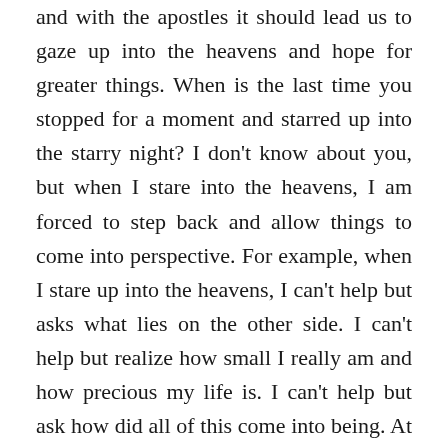and with the apostles it should lead us to gaze up into the heavens and hope for greater things. When is the last time you stopped for a moment and starred up into the starry night? I don't know about you, but when I stare into the heavens, I am forced to step back and allow things to come into perspective. For example, when I stare up into the heavens, I can't help but asks what lies on the other side. I can't help but realize how small I really am and how precious my life is. I can't help but ask how did all of this come into being. At least for me, when I stare into the heavens I am filled with wonder and awe and in some strange way the bigger picture becomes clear in my life.
Look, I get it, we are so busy doing things, achieving things, and making progress that it is so